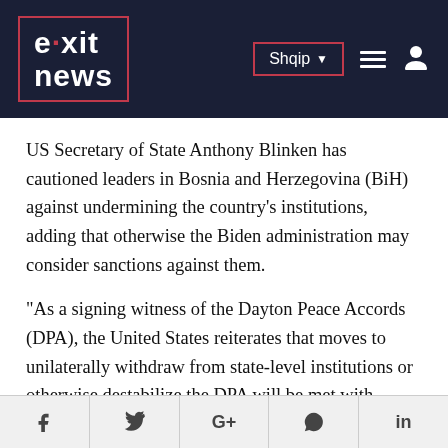exit news — Shqip
US Secretary of State Anthony Blinken has cautioned leaders in Bosnia and Herzegovina (BiH) against undermining the country's institutions, adding that otherwise the Biden administration may consider sanctions against them.
“As a signing witness of the Dayton Peace Accords (DPA), the United States reiterates that moves to unilaterally withdraw from state-level institutions or otherwise destabilize the DPA will be met with appropriate actions, including the consideration of sanctions,” Blinken cautioned in a letter to the three
f  y  G+  [WhatsApp]  in